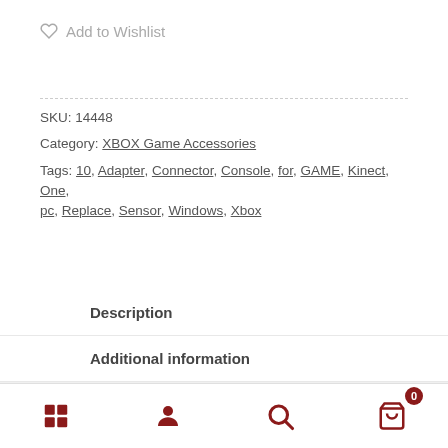♡ Add to Wishlist
SKU: 14448
Category: XBOX Game Accessories
Tags: 10, Adapter, Connector, Console, for, GAME, Kinect, One, pc, Replace, Sensor, Windows, Xbox
Description
Additional information
Reviews (0)